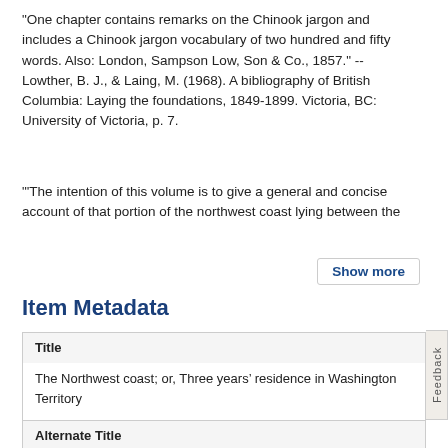"One chapter contains remarks on the Chinook jargon and includes a Chinook jargon vocabulary of two hundred and fifty words. Also: London, Sampson Low, Son & Co., 1857." -- Lowther, B. J., & Laing, M. (1968). A bibliography of British Columbia: Laying the foundations, 1849-1899. Victoria, BC: University of Victoria, p. 7.
"'The intention of this volume is to give a general and concise account of that portion of the northwest coast lying between the
Show more
Item Metadata
| Field | Value |
| --- | --- |
| Title | The Northwest coast; or, Three years’ residence in Washington Territory |
| Alternate Title | The north-west coast: or, Three years’ residence in Washington Territory, by James G. Swan, with numerous illustrations |